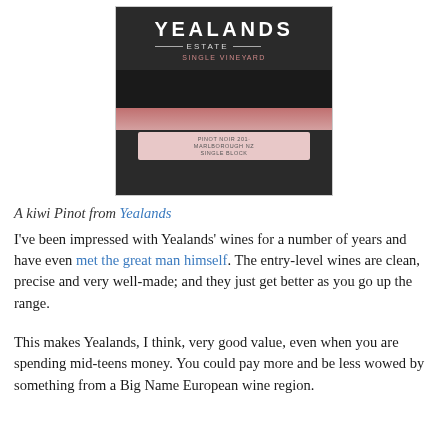[Figure (photo): Close-up photograph of a Yealands Estate Single Vineyard wine bottle, showing a dark/black label with 'YEALANDS' in large white letters, 'ESTATE' and 'SINGLE VINEYARD' below, with a pink/red band lower on the bottle indicating Pinot Noir.]
A kiwi Pinot from Yealands
I've been impressed with Yealands' wines for a number of years and have even met the great man himself. The entry-level wines are clean, precise and very well-made; and they just get better as you go up the range.
This makes Yealands, I think, very good value, even when you are spending mid-teens money. You could pay more and be less wowed by something from a Big Name European wine region.